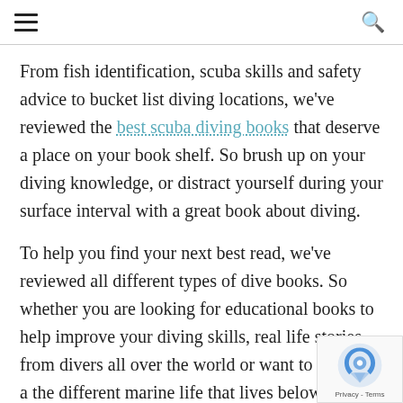☰ [hamburger menu] | [search icon]
From fish identification, scuba skills and safety advice to bucket list diving locations, we've reviewed the best scuba diving books that deserve a place on your book shelf. So brush up on your diving knowledge, or distract yourself during your surface interval with a great book about diving.
To help you find your next best read, we've reviewed all different types of dive books. So whether you are looking for educational books to help improve your diving skills, real life stories from divers all over the world or want to learn all a the different marine life that lives below the su